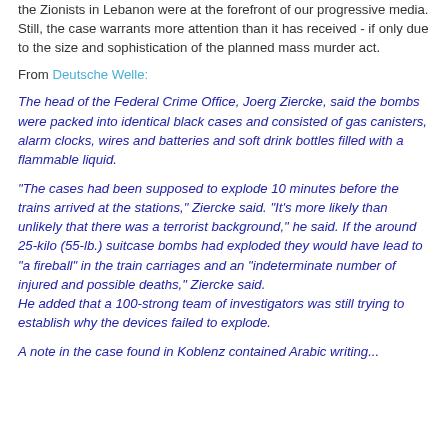the Zionists in Lebanon were at the forefront of our progressive media. Still, the case warrants more attention than it has received - if only due to the size and sophistication of the planned mass murder act.
From Deutsche Welle:
The head of the Federal Crime Office, Joerg Ziercke, said the bombs were packed into identical black cases and consisted of gas canisters, alarm clocks, wires and batteries and soft drink bottles filled with a flammable liquid.
"The cases had been supposed to explode 10 minutes before the trains arrived at the stations," Ziercke said. "It's more likely than unlikely that there was a terrorist background," he said. If the around 25-kilo (55-lb.) suitcase bombs had exploded they would have lead to "a fireball" in the train carriages and an "indeterminate number of injured and possible deaths," Ziercke said.
He added that a 100-strong team of investigators was still trying to establish why the devices failed to explode.
A note in the case found in Koblenz contained Arabic writing...